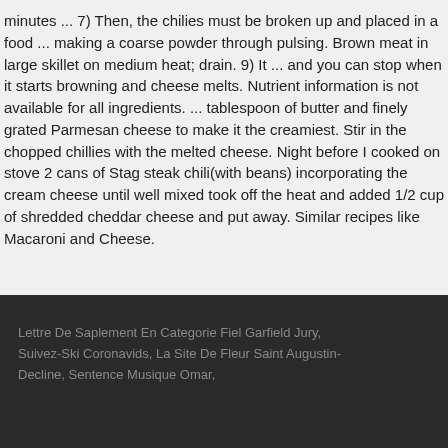minutes ... 7) Then, the chilies must be broken up and placed in a food ... making a coarse powder through pulsing. Brown meat in large skillet on medium heat; drain. 9) It ... and you can stop when it starts browning and cheese melts. Nutrient information is not available for all ingredients. ... tablespoon of butter and finely grated Parmesan cheese to make it the creamiest. Stir in the chopped chillies with the melted cheese. Night before I cooked on stove 2 cans of Stag steak chili(with beans) incorporating the cream cheese until well mixed took off the heat and added 1/2 cup of shredded cheddar cheese and put away. Similar recipes like Macaroni and Cheese.
Lettre De Saplement En Categorie Fiel Garfield Jury, Suivez-Ski Coronavids, La Site De Fleur Saint Augustin-Decline, Sentence Musique Omar,